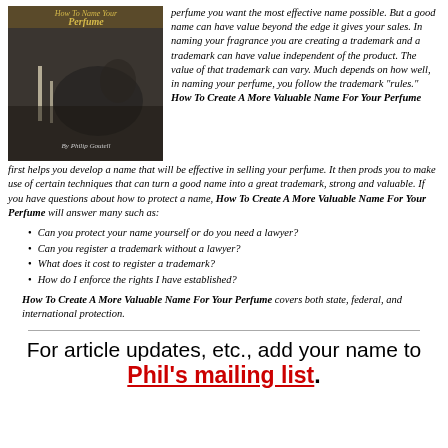[Figure (illustration): Book cover of 'How To Name Your Perfume' by Philip Goutell, showing a black-and-white photo of a person reclining with candles.]
perfume you want the most effective name possible. But a good name can have value beyond the edge it gives your sales. In naming your fragrance you are creating a trademark and a trademark can have value independent of the product. The value of that trademark can vary. Much depends on how well, in naming your perfume, you follow the trademark "rules." How To Create A More Valuable Name For Your Perfume first helps you develop a name that will be effective in selling your perfume. It then prods you to make use of certain techniques that can turn a good name into a great trademark, strong and valuable. If you have questions about how to protect a name, How To Create A More Valuable Name For Your Perfume will answer many such as:
Can you protect your name yourself or do you need a lawyer?
Can you register a trademark without a lawyer?
What does it cost to register a trademark?
How do I enforce the rights I have established?
How To Create A More Valuable Name For Your Perfume covers both state, federal, and international protection.
For article updates, etc., add your name to Phil's mailing list.